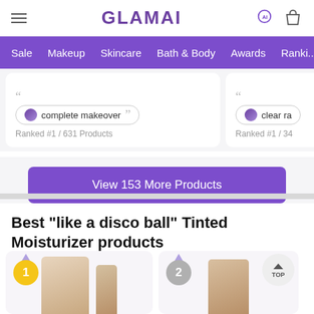GLAMAI — navigation bar with Sale, Makeup, Skincare, Bath & Body, Awards, Rankings
"complete makeover" — Ranked #1 / 631 Products
"clear ra..." — Ranked #1 / 34... Products
View 153 More Products
Best "like a disco ball" Tinted Moisturizer products
[Figure (screenshot): Product rank #1 gold medal card with product image (Laura Mercier tinted moisturizer tube)]
[Figure (screenshot): Product rank #2 silver medal card with product image (HUDA BE...) and TOP navigation button]